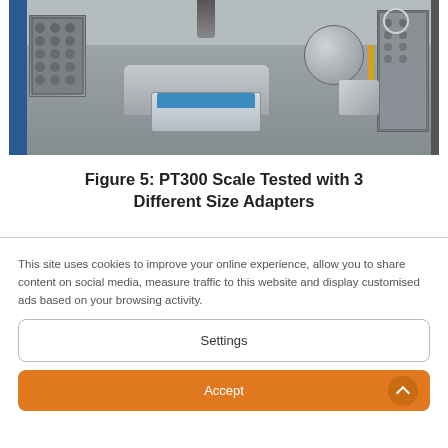[Figure (photo): Laboratory photo of a PT300 scale being tested with 3 different size adapters on a metal workbench, with various equipment visible including panels, a cylinder, and a drill press above]
Figure 5: PT300 Scale Tested with 3 Different Size Adapters
This site uses cookies to improve your online experience, allow you to share content on social media, measure traffic to this website and display customised ads based on your browsing activity.
Settings
Accept